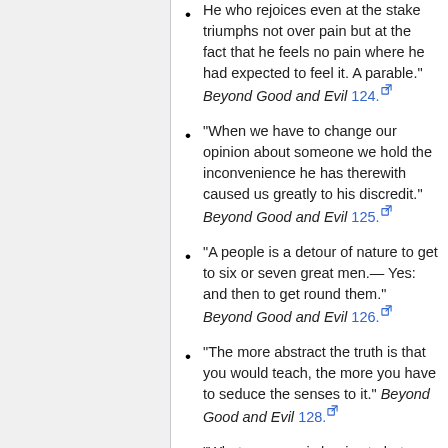He who rejoices even at the stake triumphs not over pain but at the fact that he feels no pain where he had expected to feel it. A parable." Beyond Good and Evil 124.
"When we have to change our opinion about someone we hold the inconvenience he has therewith caused us greatly to his discredit." Beyond Good and Evil 125.
"A people is a detour of nature to get to six or seven great men.— Yes: and then to get round them." Beyond Good and Evil 126.
"The more abstract the truth is that you would teach, the more you have to seduce the senses to it." Beyond Good and Evil 128.
"What a person is begins to betray itself when his talent declines—when